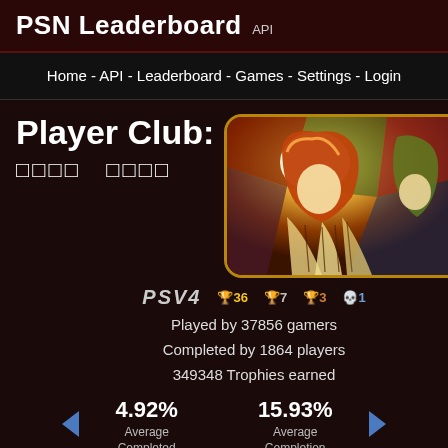PSN Leaderboard API
Home - API - Leaderboard - Games - Settings - Login
Player Club:
[Figure (illustration): Game artwork showing an anime-style character with red/orange hair and stained glass style art in a rounded rectangle frame with gold border]
PSV4   🏆36  🏆7  🏆3  💀1
Played by 37856 gamers
Completed by 1864 players
349348 Trophies earned
4.92%
15.93%
Average Completed
Average Completion